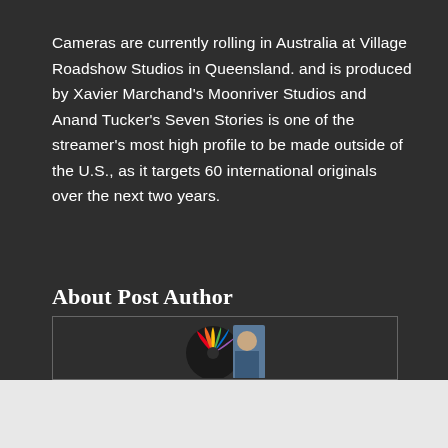Cameras are currently rolling in Australia at Village Roadshow Studios in Queensland. and is produced by Xavier Marchand's Moonriver Studios and Anand Tucker's Seven Stories is one of the streamer's most high profile to be made outside of the U.S., as it targets 60 international originals over the next two years.
About Post Author
[Figure (photo): Circular profile photo showing a person alongside an NBC peacock logo, partially visible, cropped at the bottom]